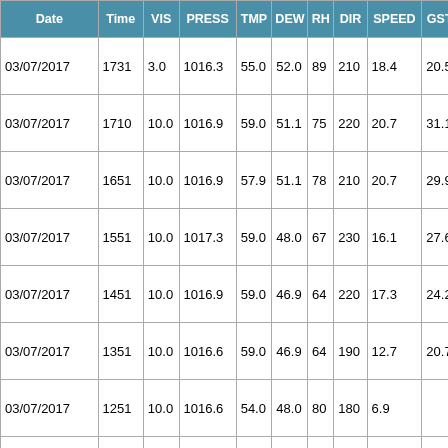| Date | Time | VIS | PRESS | TMP | DEW | RH | DIR | SPEED | GST | MX24 | MN |
| --- | --- | --- | --- | --- | --- | --- | --- | --- | --- | --- | --- |
| 03/07/2017 | 1731 | 3.0 | 1016.3 | 55.0 | 52.0 | 89 | 210 | 18.4 | 20.5 |  |  |
| 03/07/2017 | 1710 | 10.0 | 1016.9 | 59.0 | 51.1 | 75 | 220 | 20.7 | 31.1 |  |  |
| 03/07/2017 | 1651 | 10.0 | 1016.9 | 57.9 | 51.1 | 78 | 210 | 20.7 | 29.9 |  |  |
| 03/07/2017 | 1551 | 10.0 | 1017.3 | 59.0 | 48.0 | 67 | 230 | 16.1 | 27.6 |  |  |
| 03/07/2017 | 1451 | 10.0 | 1016.9 | 59.0 | 46.9 | 64 | 220 | 17.3 | 24.2 |  |  |
| 03/07/2017 | 1351 | 10.0 | 1016.6 | 59.0 | 46.9 | 64 | 190 | 12.7 | 20.7 |  |  |
| 03/07/2017 | 1251 | 10.0 | 1016.6 | 54.0 | 48.0 | 80 | 180 | 6.9 |  |  |  |
| 03/07/2017 | 1151 | 10.0 | 1016.6 | 53.1 | 48.0 | 83 | 180 | 6.9 |  |  |  |